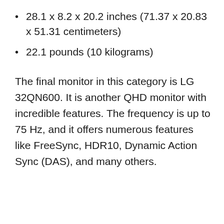28.1 x 8.2 x 20.2 inches (71.37 x 20.83 x 51.31 centimeters)
22.1 pounds (10 kilograms)
The final monitor in this category is LG 32QN600. It is another QHD monitor with incredible features. The frequency is up to 75 Hz, and it offers numerous features like FreeSync, HDR10, Dynamic Action Sync (DAS), and many others.